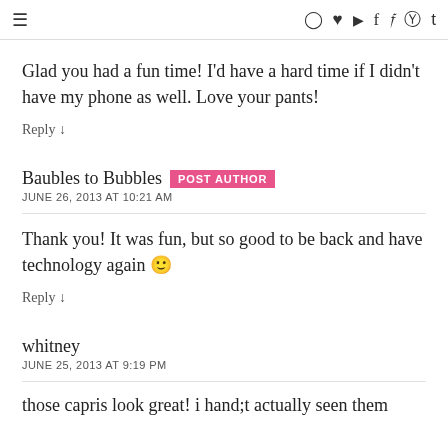≡  [instagram] [heart] [youtube] [facebook] [twitter] [pinterest] t
Glad you had a fun time! I'd have a hard time if I didn't have my phone as well. Love your pants!
Reply ↓
Baubles to Bubbles  POST AUTHOR
JUNE 26, 2013 AT 10:21 AM
Thank you! It was fun, but so good to be back and have technology again 🙂
Reply ↓
whitney
JUNE 25, 2013 AT 9:19 PM
those capris look great! i hand;t actually seen them